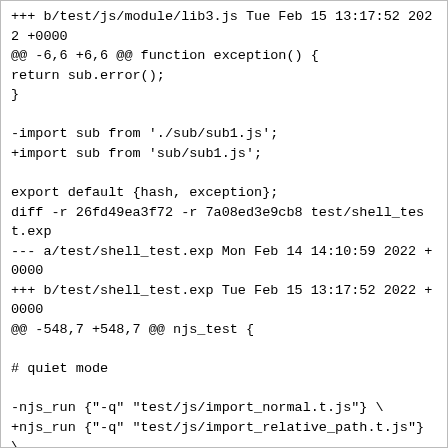+++ b/test/js/module/lib3.js Tue Feb 15 13:17:52 2022 +0000
@@ -6,6 +6,6 @@ function exception() {
return sub.error();
}

-import sub from './sub/sub1.js';
+import sub from 'sub/sub1.js';

export default {hash, exception};
diff -r 26fd49ea3f72 -r 7a08ed3e9cb8 test/shell_test.exp
--- a/test/shell_test.exp Mon Feb 14 14:10:59 2022 +0000
+++ b/test/shell_test.exp Tue Feb 15 13:17:52 2022 +0000
@@ -548,7 +548,7 @@ njs_test {

# quiet mode

-njs_run {"-q" "test/js/import_normal.t.js"} \
+njs_run {"-q" "test/js/import_relative_path.t.js"} \
"SyntaxError: Cannot find module \"name.js\" in 7"

# sandboxing